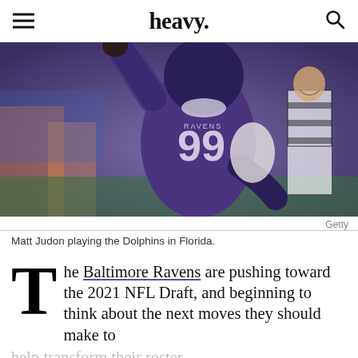heavy.
[Figure (photo): Matt Judon in Baltimore Ravens purple #99 jersey, arm raised, playing against the Dolphins in Florida. A referee in black and white stripes is visible in the background.]
Getty
Matt Judon playing the Dolphins in Florida.
The Baltimore Ravens are pushing toward the 2021 NFL Draft, and beginning to think about the next moves they should make to help transform their roster.